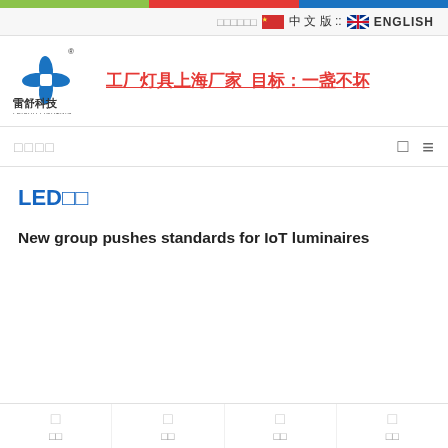[Figure (logo): Leishu Lighting logo with colored top bar strips and company logo with Chinese text]
中文版 :: ENGLISH language switcher with flags
[Figure (logo): Leishu Lighting company logo — blue diamond star shape with Chinese characters 雷舒科技 and text LEISHU LIGHTING]
工厂灯具上海厂家  目标：一盏不坏
□□□□
LED□□
New group pushes standards for IoT luminaires
□ □□  □ □□  □ □□  □ □□